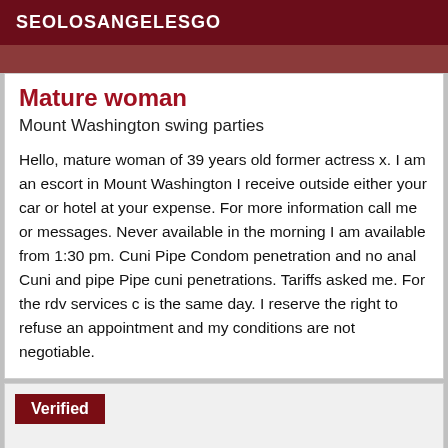SEOLOSANGELESGO
Mature woman
Mount Washington swing parties
Hello, mature woman of 39 years old former actress x. I am an escort in Mount Washington I receive outside either your car or hotel at your expense. For more information call me or messages. Never available in the morning I am available from 1:30 pm. Cuni Pipe Condom penetration and no anal Cuni and pipe Pipe cuni penetrations. Tariffs asked me. For the rdv services c is the same day. I reserve the right to refuse an appointment and my conditions are not negotiable.
Verified